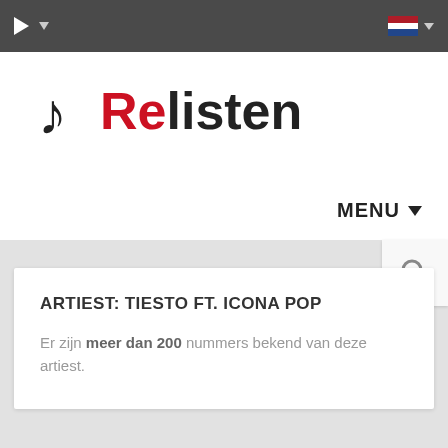Relisten - music streaming website header with dark top bar containing play button and Netherlands flag, logo area with music note icon and 'Relisten' brand name, MENU dropdown
ARTIEST: TIESTO FT. ICONA POP
Er zijn meer dan 200 nummers bekend van deze artiest.